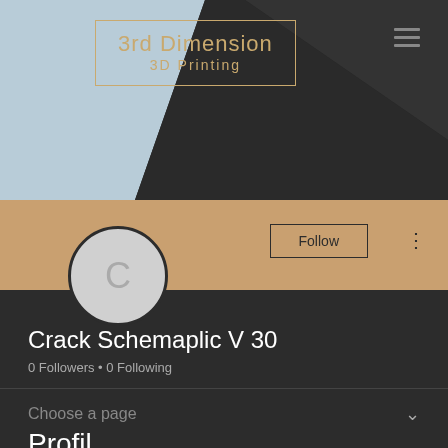[Figure (screenshot): Hero banner with light blue sky on left and dark angular building facade on right, forming a diagonal composition]
[Figure (logo): 3rd Dimension / 3D Printing logo in gold/tan text inside a rectangular border]
3rd Dimension
3D Printing
[Figure (photo): Profile avatar circle with letter C on tan/beige background band]
Follow
Crack Schemaplic V 30
0 Followers • 0 Following
Choose a page
Profil